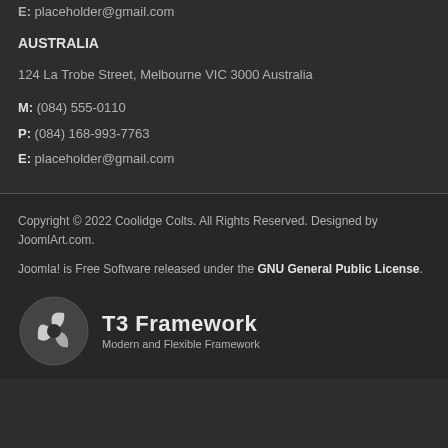E: placeholder@gmail.com
AUSTRALIA
124 La Trobe Street, Melbourne VIC 3000 Australia
M: (084) 555-0110
P: (084) 168-993-7763
E: placeholder@gmail.com
Copyright © 2022 Coolidge Colts. All Rights Reserved. Designed by JoomlArt.com. Joomla! is Free Software released under the GNU General Public License.
[Figure (logo): T3 Framework logo — a circular icon with leaf/fan shapes on the left, and text 'T3 Framework' with subtitle 'Modern and Flexible Framework' on the right]